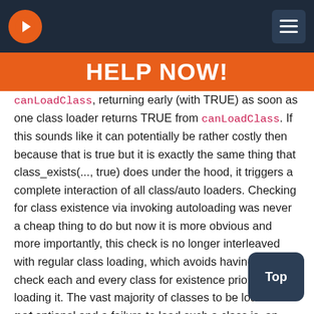HELP NOW!
canLoadClass, returning early (with TRUE) as soon as one class loader returns TRUE from canLoadClass. If this sounds like it can potentially be rather costly then because that is true but it is exactly the same thing that class_exists(..., true) does under the hood, it triggers a complete interaction of all class/auto loaders. Checking for class existence via invoking autoloading was never a cheap thing to do but now it is more obvious and more importantly, this check is no longer interleaved with regular class loading, which avoids having to check each and every class for existence prior to loading it. The vast majority of classes to be loaded are not optional and a failure to load such a class is, and will be, a fatal error. The ClassLoader design reflects this.
If you have code that requires the usage of